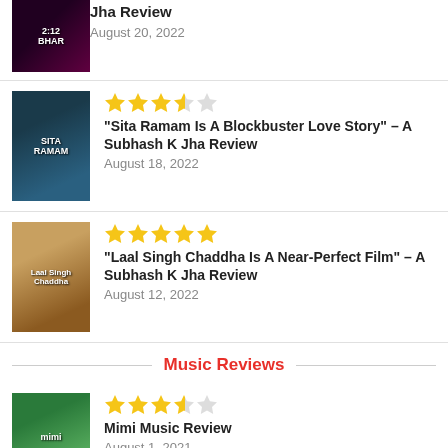Jha Review – August 20, 2022
"Sita Ramam Is A Blockbuster Love Story" – A Subhash K Jha Review – August 18, 2022 – 3.5 stars
"Laal Singh Chaddha Is A Near-Perfect Film" – A Subhash K Jha Review – August 12, 2022 – 5 stars
Music Reviews
Mimi Music Review – August 1, 2021 – 3.5 stars